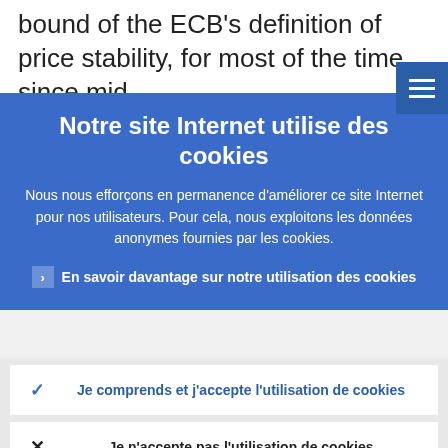bound of the ECB's definition of price stability, for most of the time since mid-
[Figure (other): Hamburger menu icon button (three horizontal lines) on blue background, top-right corner]
Notre site Internet utilise des cookies
Nous nous efforçons en permanence d'améliorer ce site Internet pour nos utilisateurs. Pour cela, nous exploitons les données anonymes fournies par les cookies.
En savoir davantage sur notre utilisation des cookies
Je comprends et j'accepte l'utilisation de cookies
Je n'accepte pas l'utilisation de cookies